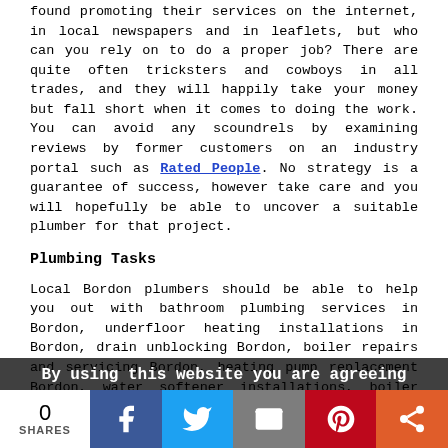found promoting their services on the internet, in local newspapers and in leaflets, but who can you rely on to do a proper job? There are quite often tricksters and cowboys in all trades, and they will happily take your money but fall short when it comes to doing the work. You can avoid any scoundrels by examining reviews by former customers on an industry portal such as Rated People. No strategy is a guarantee of success, however take care and you will hopefully be able to uncover a suitable plumber for that project.
Plumbing Tasks
Local Bordon plumbers should be able to help you out with bathroom plumbing services in Bordon, underfloor heating installations in Bordon, drain unblocking Bordon, boiler repairs and servicing Bordon, heating pump replacement Bordon, water softener installations, boiler checkups, the installation of macerators and Saniflo systems Bordon, emergency call-outs Bordon, water cylinder replacements, gas ovens and hobs fitted Bordon, magnetic filter installation, thermostat installation, kitchen appliance installation Bordon, kitchen sinks and plumbing Bordon, powerflushing, boiler installations, the installation of
By using this website you are agreeing
0 SHARES [Facebook] [Twitter] [Email] [Pinterest] [More]